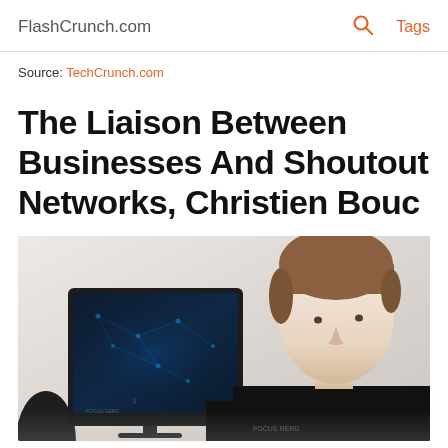FlashCrunch.com   🔍   Tags
Source: TechCrunch.com
The Liaison Between Businesses And Shoutout Networks, Christien Bouc
[Figure (photo): Photo of Christien Bouc, a young person with short brown hair wearing a black t-shirt, sitting in front of an iMac computer with a dark blue networked background on screen, in a bright white room.]